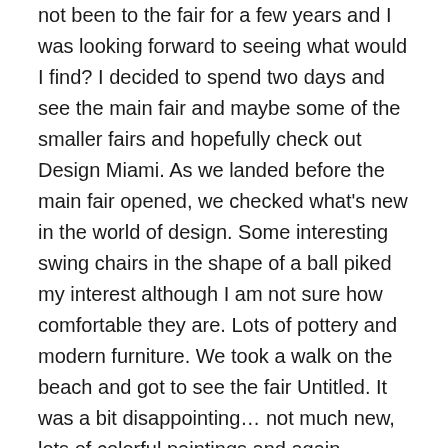not been to the fair for a few years and I was looking forward to seeing what would I find? I decided to spend two days and see the main fair and maybe some of the smaller fairs and hopefully check out Design Miami. As we landed before the main fair opened, we checked what's new in the world of design. Some interesting swing chairs in the shape of a ball piked my interest although I am not sure how comfortable they are. Lots of pottery and modern furniture. We took a walk on the beach and got to see the fair Untitled. It was a bit disappointing… not much new, lots of colorful paintings and again pottery. At night we visited the main fair's special session, The Meridians where they highlighted different artists.
The main fair opened on Wednesday.  It was nice to see some familiar works by artists I like and discover some